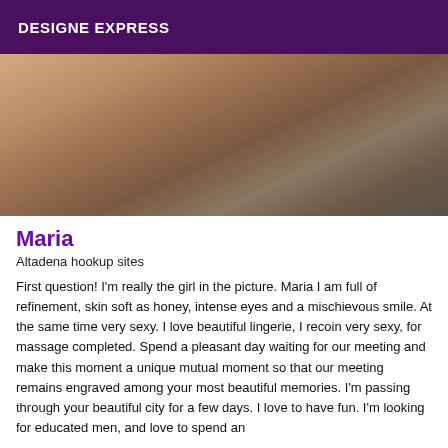DESIGNE EXPRESS
[Figure (photo): Close-up photo of a person's skin, warm tones with patterned fabric visible in background]
Maria
Altadena hookup sites
First question! I'm really the girl in the picture. Maria I am full of refinement, skin soft as honey, intense eyes and a mischievous smile. At the same time very sexy. I love beautiful lingerie, I recoin very sexy, for massage completed. Spend a pleasant day waiting for our meeting and make this moment a unique mutual moment so that our meeting remains engraved among your most beautiful memories. I'm passing through your beautiful city for a few days. I love to have fun. I'm looking for educated men, and love to spend an